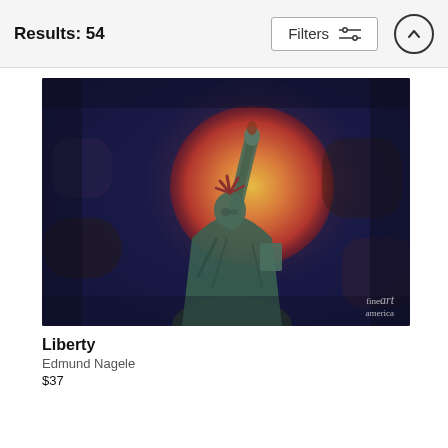Results: 54
[Figure (photo): Artistic painting of the Statue of Liberty with a large red/orange sun behind it, against a dark textured blue-purple background. Fine Art America watermark in lower right.]
Liberty
Edmund Nagele
$37